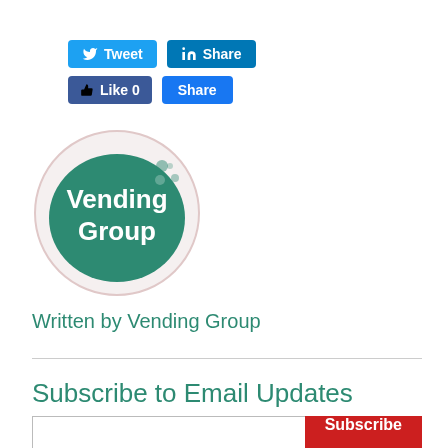[Figure (other): Social media buttons: Tweet (Twitter), Share (LinkedIn), Like 0 (Facebook), Share (Facebook)]
[Figure (logo): Vending Group logo — teal oval with white text 'Vending Group' and bubble dots]
Written by Vending Group
Subscribe to Email Updates
[Figure (other): Email subscription form with text input and red Subscribe button]